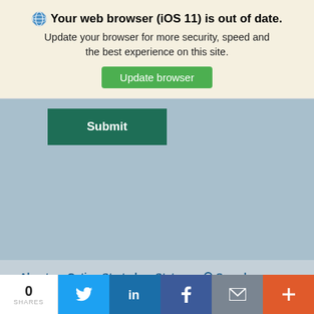🌐 Your web browser (iOS 11) is out of date. Update your browser for more security, speed and the best experience on this site. Update browser
[Figure (screenshot): Green 'Update browser' button]
[Figure (screenshot): Dark green 'Submit' button on blue-gray background]
About   Geting Started   States   🔍 Search   Contact Us   Submit a Story Idea
[Figure (screenshot): Social media icons: LinkedIn, Twitter, Flipboard, RSS, Search]
[Figure (screenshot): Bottom share bar: 0 SHARES, Twitter, LinkedIn, Facebook, Email, Plus buttons]